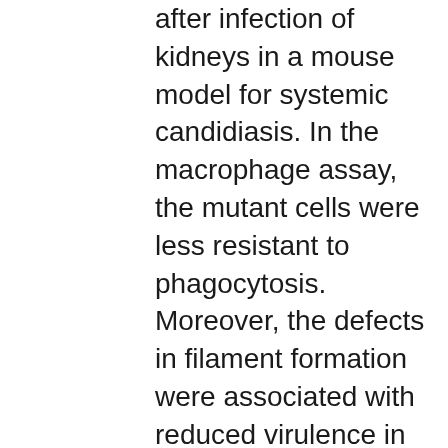after infection of kidneys in a mouse model for systemic candidiasis. In the macrophage assay, the mutant cells were less resistant to phagocytosis. Moreover, the defects in filament formation were associated with reduced virulence in the mouse model. These results indicate that, in response to environmental cues, CaRas1p is required for the regulation of both a MAP kinase signalling pathway and a